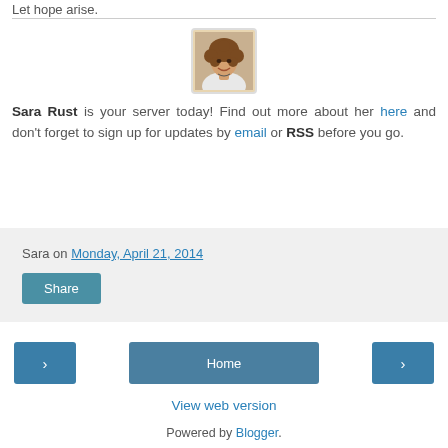Let hope arise.
[Figure (photo): Portrait photo of Sara Rust, a woman with curly hair, smiling]
Sara Rust is your server today! Find out more about her here and don't forget to sign up for updates by email or RSS before you go.
Sara on Monday, April 21, 2014
Share
Home
View web version
Powered by Blogger.